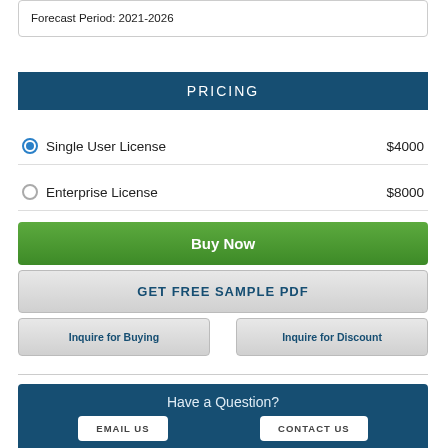Forecast Period: 2021-2026
PRICING
Single User License   $4000
Enterprise License   $8000
Buy Now
GET FREE SAMPLE PDF
Inquire for Buying
Inquire for Discount
Have a Question?
EMAIL US
CONTACT US